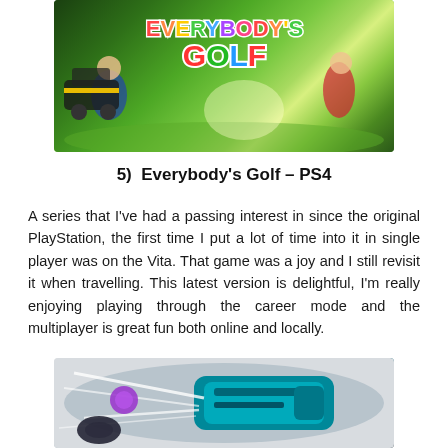[Figure (photo): Everybody's Golf PS4 game promotional image showing colorful animated characters on a golf course with the game's logo]
5)  Everybody's Golf – PS4
A series that I've had a passing interest in since the original PlayStation, the first time I put a lot of time into it in single player was on the Vita. That game was a joy and I still revisit it when travelling. This latest version is delightful, I'm really enjoying playing through the career mode and the multiplayer is great fun both online and locally.
[Figure (photo): Close-up of a futuristic teal/blue gun or device with dynamic white streaks and racing game elements]